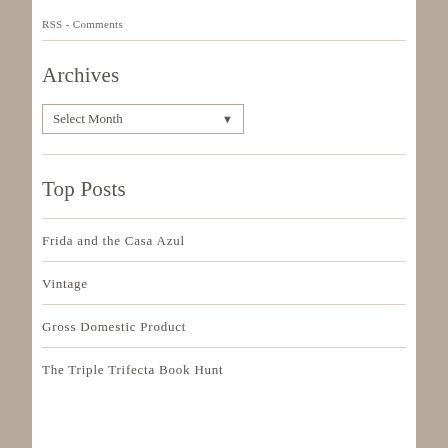RSS - Comments
Archives
Select Month
Top Posts
Frida and the Casa Azul
Vintage
Gross Domestic Product
The Triple Trifecta Book Hunt